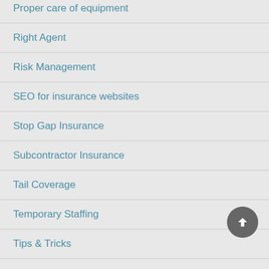Proper care of equipment
Right Agent
Risk Management
SEO for insurance websites
Stop Gap Insurance
Subcontractor Insurance
Tail Coverage
Temporary Staffing
Tips & Tricks
Transport Vessels
Transportation Insurance
Truck Driving Insurance